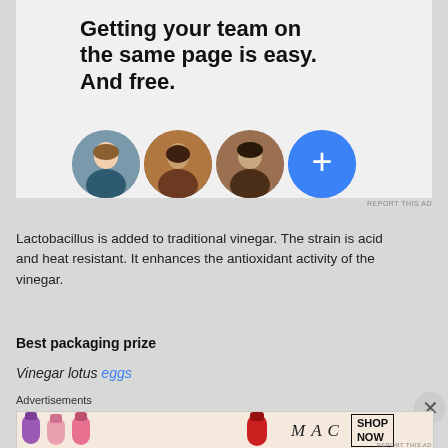[Figure (screenshot): Advertisement banner with bold text 'Getting your team on the same page is easy. And free.' with circular avatar photos and a blue plus button on gray background]
REPORT THIS AD
Lactobacillus is added to traditional vinegar. The strain is acid and heat resistant. It enhances the antioxidant activity of the vinegar.
Best packaging prize
Vinegar lotus eggs
Advertisements
[Figure (screenshot): MAC cosmetics advertisement showing lipsticks and 'SHOP NOW' box]